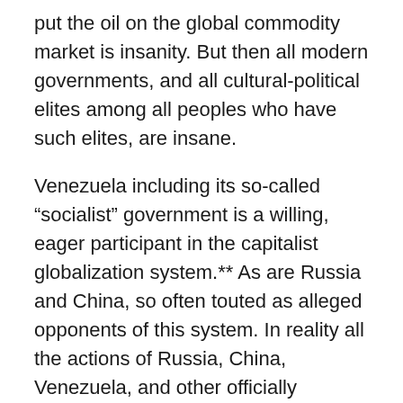put the oil on the global commodity market is insanity. But then all modern governments, and all cultural-political elites among all peoples who have such elites, are insane.
Venezuela including its so-called “socialist” government is a willing, eager participant in the capitalist globalization system.** As are Russia and China, so often touted as alleged opponents of this system. In reality all the actions of Russia, China, Venezuela, and other officially designated “enemies” prove that these governments never wanted to challenge US-led globalization and don’t want to challenge it even now. All they want is to take what they see as their rightful place within the system and be treated accordingly. Only the flat-out totalitarian lunacy of US bullying and aggression is forcing these countries into the de facto position of challengers and therefore rivals if not